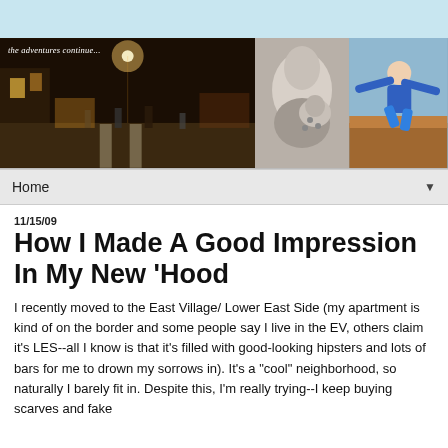[Figure (photo): Blog header with three photos: left is a night street scene with text 'the adventures continue...', center is a black-and-white close-up of a mother and baby, right is a woman jumping outdoors in a blue outfit.]
Home ▼
11/15/09
How I Made A Good Impression In My New 'Hood
I recently moved to the East Village/ Lower East Side (my apartment is kind of on the border and some people say I live in the EV, others claim it's LES--all I know is that it's filled with good-looking hipsters and lots of bars for me to drown my sorrows in). It's a "cool" neighborhood, so naturally I barely fit in. Despite this, I'm really trying--I keep buying scarves and fake